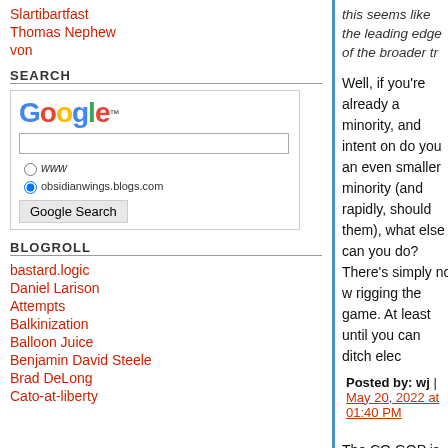Slartibartfast
Thomas Nephew
von
SEARCH
[Figure (logo): Google search widget with logo, text input, radio buttons for www and obsidianwings.blogs.com, and Google Search button]
BLOGROLL
bastard.logic
Daniel Larison
Attempts
Balkinization
Balloon Juice
Benjamin David Steele
Brad DeLong
Cato-at-liberty
this seems like the leading edge of the broader tr
Well, if you're already a minority, and intent on do you an even smaller minority (and rapidly, should them), what else can you do? There's simply no w rigging the game. At least until you can ditch elec
Posted by: wj | May 20, 2022 at 01:40 PM
The CO GOP is in an interesting place right now. between the old school Republicans in the donor militant radicals looking for a fight. The two faction each other on the parliamentary level in the prima state agenda. The insurgents started to panic har elected governor, and the pandemic and BLM der restore any sanity.
It's a really weird mix.
Posted by: nous | May 20, 2022 at 01:57 PM
I recently binged road all but two of the Jack Ro...